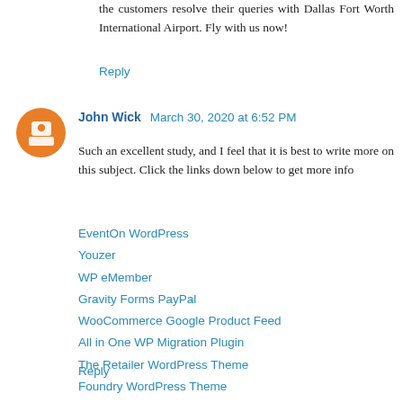the customers resolve their queries with Dallas Fort Worth International Airport. Fly with us now!
Reply
John Wick  March 30, 2020 at 6:52 PM
Such an excellent study, and I feel that it is best to write more on this subject. Click the links down below to get more info
EventOn WordPress
Youzer
WP eMember
Gravity Forms PayPal
WooCommerce Google Product Feed
All in One WP Migration Plugin
The Retailer WordPress Theme
Foundry WordPress Theme
Infinite WordPress Theme
Reply